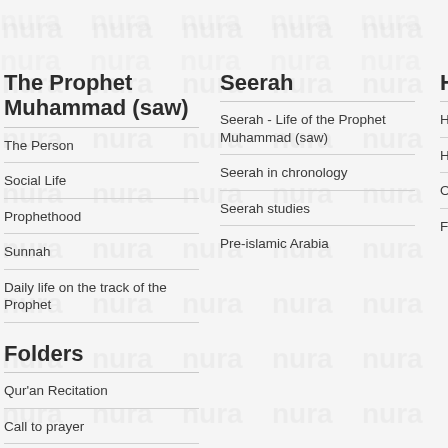The Prophet Muhammad (saw)
The Person
Social Life
Prophethood
Sunnah
Daily life on the track of the Prophet
Folders
Qur'an Recitation
Call to prayer
Ramadan
Ramadan Diaries
Pilgrimage
Seerah
Seerah - Life of the Prophet Muhammad (saw)
Seerah in chronology
Seerah studies
Pre-islamic Arabia
Hadit
Hadith S
Hadith D
One Hac
Forty Ha